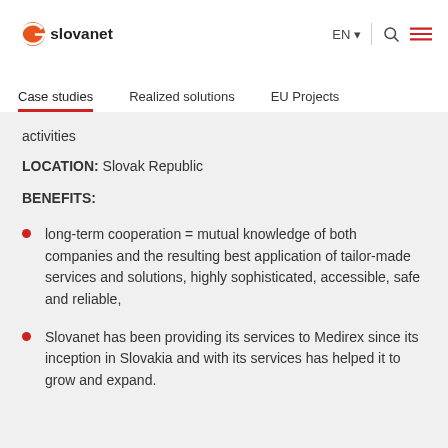Slovanet | EN | [search] [menu]
Case studies | Realized solutions | EU Projects
activities
LOCATION: Slovak Republic
BENEFITS:
long-term cooperation = mutual knowledge of both companies and the resulting best application of tailor-made services and solutions, highly sophisticated, accessible, safe and reliable,
Slovanet has been providing its services to Medirex since its inception in Slovakia and with its services has helped it to grow and expand.